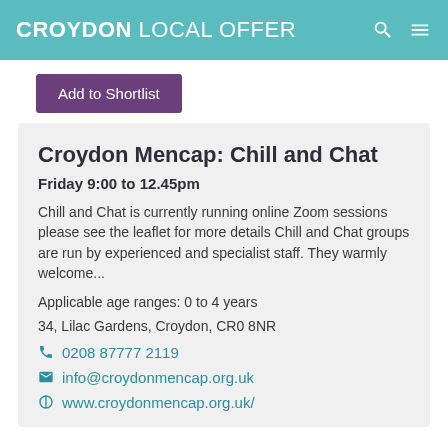CROYDON LOCAL OFFER
Add to Shortlist
Croydon Mencap: Chill and Chat
Friday 9:00 to 12.45pm
Chill and Chat is currently running online Zoom sessions please see the leaflet for more details Chill and Chat groups are run by experienced and specialist staff. They warmly welcome...
Applicable age ranges: 0 to 4 years
34, Lilac Gardens, Croydon, CR0 8NR
0208 87777 2119
info@croydonmencap.org.uk
www.croydonmencap.org.uk/